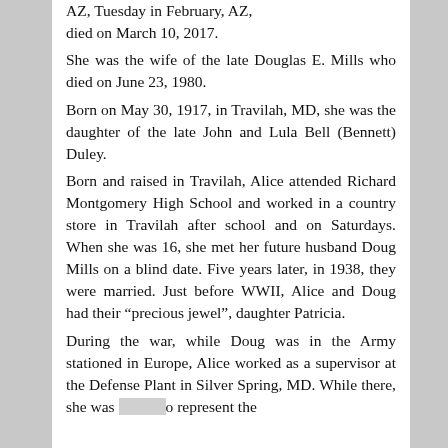AZ, Tuesday in February, AZ, died on March 10, 2017. She was the wife of the late Douglas E. Mills who died on June 23, 1980. Born on May 30, 1917, in Travilah, MD, she was the daughter of the late John and Lula Bell (Bennett) Duley. Born and raised in Travilah, Alice attended Richard Montgomery High School and worked in a country store in Travilah after school and on Saturdays. When she was 16, she met her future husband Doug Mills on a blind date. Five years later, in 1938, they were married. Just before WWII, Alice and Doug had their “precious jewel”, daughter Patricia. During the war, while Doug was in the Army stationed in Europe, Alice worked as a supervisor at the Defense Plant in Silver Spring, MD. While there, she was [obscured] to represent the